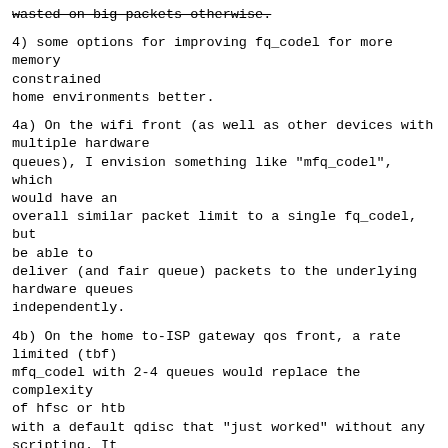wasted on big packets otherwise.
4) some options for improving fq_codel for more memory constrained
home environments better.
4a) On the wifi front (as well as other devices with multiple hardware
queues), I envision something like "mfq_codel", which would have an
overall similar packet limit to a single fq_codel, but be able to
deliver (and fair queue) packets to the underlying hardware queues
independently.
4b) On the home to-ISP gateway qos front, a rate limited (tbf)
mfq_codel with 2-4 queues would replace the complexity of hfsc or htb
with a default qdisc that "just worked" without any scripting. It
could be mildly more responsive (htb buffers up some data and has it's
own notion of time and quantums), thus cpu and memory usage would be
lower than htb + multiple fq_codel queues.
Getting something that scaled down to 10s of kbits and up to gigabits
would be hard, tho. HTB needs to be tuned when running